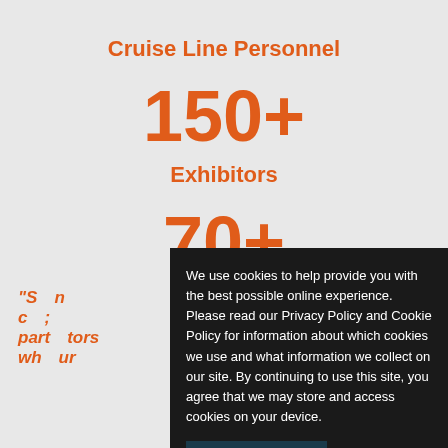Cruise Line Personnel
150+
Exhibitors
70+
We use cookies to help provide you with the best possible online experience. Please read our Privacy Policy and Cookie Policy for information about which cookies we use and what information we collect on our site. By continuing to use this site, you agree that we may store and access cookies on your device.
I AGREE